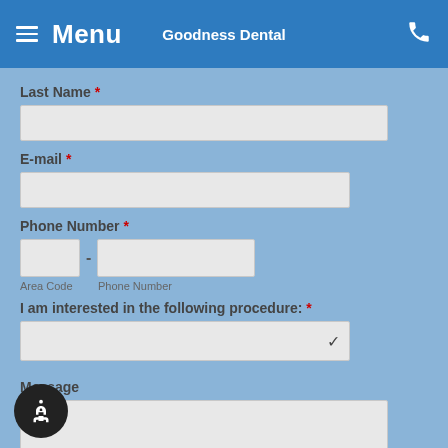Menu | Goodness Dental
Last Name *
E-mail *
Phone Number *
Area Code  Phone Number
I am interested in the following procedure: *
Message